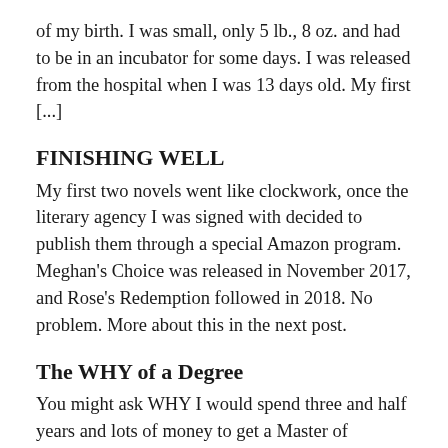of my birth. I was small, only 5 lb., 8 oz. and had to be in an incubator for some days. I was released from the hospital when I was 13 days old. My first [...]
FINISHING WELL
My first two novels went like clockwork, once the literary agency I was signed with decided to publish them through a special Amazon program. Meghan's Choice was released in November 2017, and Rose's Redemption followed in 2018. No problem. More about this in the next post.
The WHY of a Degree
You might ask WHY I would spend three and half years and lots of money to get a Master of Divinity in my late 60s. The only answer I have is — that I pursue God and His purposes for me.